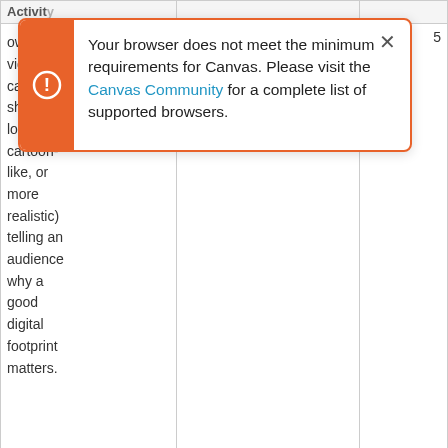[Figure (screenshot): Browser compatibility warning modal overlay on a Canvas LMS page. Orange left panel with exclamation icon, white content area reading: 'Your browser does not meet the minimum requirements for Canvas. Please visit the Canvas Community for a complete list of supported browsers.' with a close X button.]
| Activity |  |  |
| --- | --- | --- |
| own video (it can be short, long, cartoon-like, or more realistic) telling an audience why a good digital footprint matters. |  | 5 |